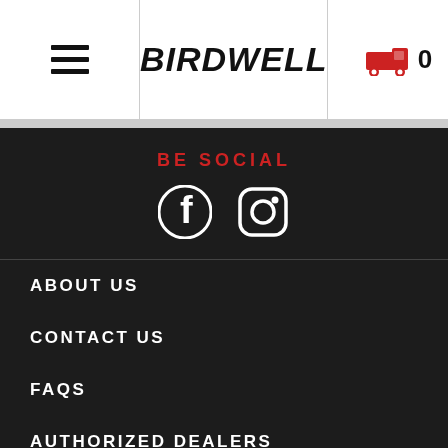[Figure (logo): Birdwell logo in bold stylized black italic text]
BE SOCIAL
[Figure (infographic): Facebook and Instagram white social media icons on dark background]
ABOUT US
CONTACT US
FAQS
AUTHORIZED DEALERS
CAREERS